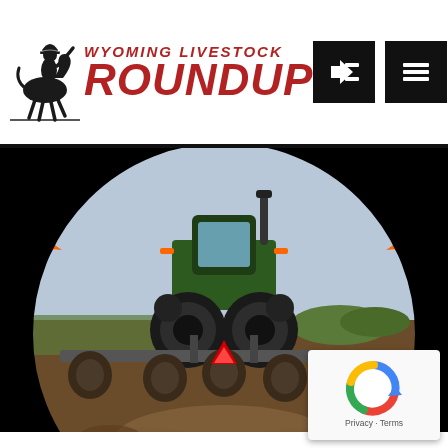Wyoming Livestock Roundup
[Figure (photo): A green tractor with tillage equipment working a field, viewed from behind, shown in a circular crop with 'MARKETS' text overlay at the bottom]
MARKETS
[Figure (logo): Google reCAPTCHA badge with logo and Privacy - Terms text]